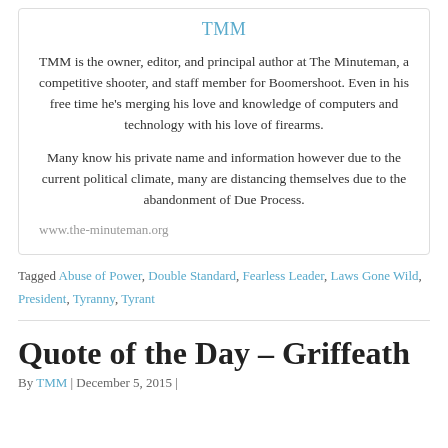TMM
TMM is the owner, editor, and principal author at The Minuteman, a competitive shooter, and staff member for Boomershoot. Even in his free time he’s merging his love and knowledge of computers and technology with his love of firearms.
Many know his private name and information however due to the current political climate, many are distancing themselves due to the abandonment of Due Process.
www.the-minuteman.org
Tagged Abuse of Power, Double Standard, Fearless Leader, Laws Gone Wild, President, Tyranny, Tyrant
Quote of the Day – Griffeath
By TMM | December 5, 2015 |